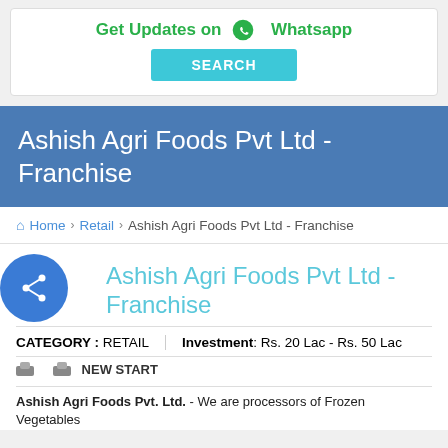Get Updates on Whatsapp
SEARCH
Ashish Agri Foods Pvt Ltd - Franchise
Home > Retail > Ashish Agri Foods Pvt Ltd - Franchise
Ashish Agri Foods Pvt Ltd - Franchise
CATEGORY : RETAIL   Investment: Rs. 20 Lac - Rs. 50 Lac
NEW START
Ashish Agri Foods Pvt. Ltd. - We are processors of Frozen Vegetables